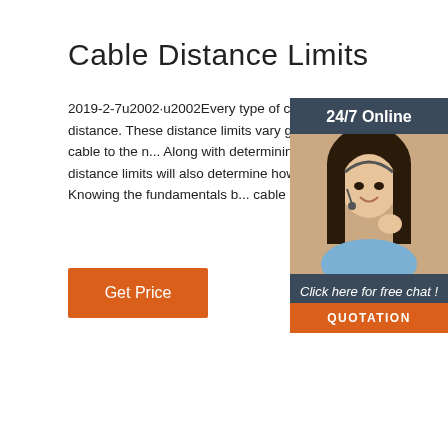Cable Distance Limits
2019-2-7u2002·u2002Every type of cable has a maximum distance. These distance limits vary greatly from one type of cable to the next. Along with determining whether a cable will work, distance limits will also determine how well a cable works. Knowing the fundamentals behind cable distance limits is …
Get Price
[Figure (infographic): Customer service representative sidebar widget with '24/7 Online' header, photo of woman with headset, 'Click here for free chat!' text, and orange QUOTATION button]